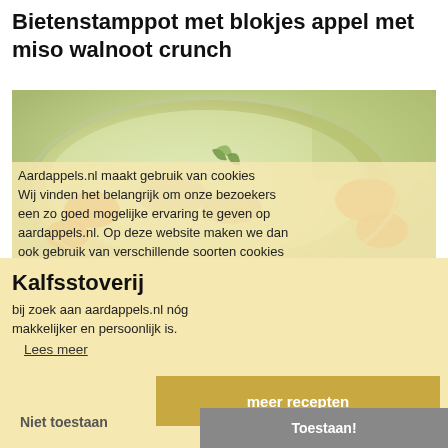Bietenstamppot met blokjes appel met miso walnoot crunch
[Figure (photo): A bowl of creamy soup with vegetables including carrots and herbs]
Aardappels.nl maakt gebruik van cookies Wij vinden het belangrijk om onze bezoekers een zo goed mogelijke ervaring te geven op aardappels.nl. Op deze website maken we dan ook gebruik van verschillende soorten cookies
Kalfsstoverij
bij zoek aan aardappels.nl nóg makkelijker en persoonlijk is.
Lees meer
meer recepten
Niet toestaan
Toestaan!